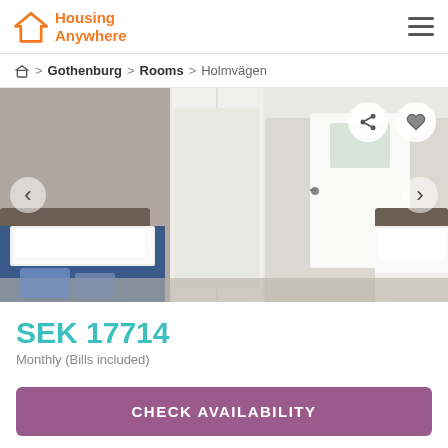Housing Anywhere
Home > Gothenburg > Rooms > Holmvägen
[Figure (photo): Interior photo of a shared room showing two single beds with white bedding and blue blankets, white wardrobe/storage unit in the center, and a white door with glass panel.]
SEK 17714
Monthly (Bills included)
CHECK AVAILABILITY